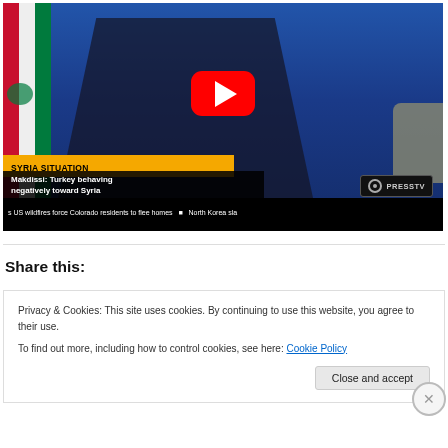[Figure (screenshot): YouTube video thumbnail showing a news broadcast. A man in a dark suit is at a podium. Yellow banner reads 'SYRIA SITUATION', headline says 'Makdissi: Turkey behaving negatively toward Syria'. PressTV logo visible. Ticker reads 'US wildfires force Colorado residents to flee homes  ■  North Korea sla'. Red YouTube play button overlay in center.]
Share this:
Privacy & Cookies: This site uses cookies. By continuing to use this website, you agree to their use.
To find out more, including how to control cookies, see here: Cookie Policy
Close and accept